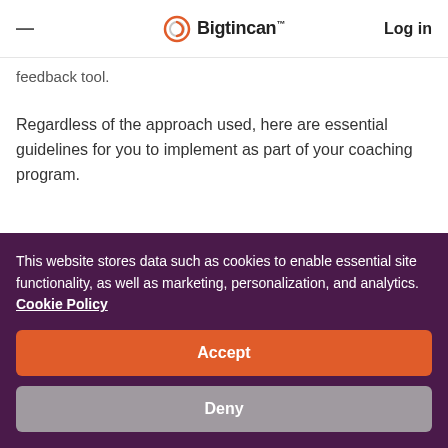≡  Bigtincan  Log in
feedback tool.
Regardless of the approach used, here are essential guidelines for you to implement as part of your coaching program.
Create a safe environment
Regardless of the technology used, the environment
This website stores data such as cookies to enable essential site functionality, as well as marketing, personalization, and analytics. Cookie Policy
Accept
Deny